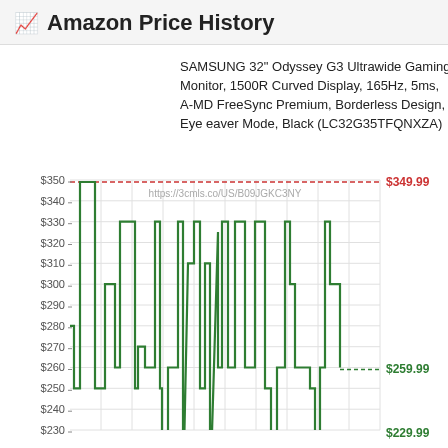Amazon Price History
SAMSUNG 32" Odyssey G3 Ultrawide Gaming Monitor, 1500R Curved Display, 165Hz, 5ms, AMD FreeSync Premium, Borderless Design, Eye eaver Mode, Black (LC32G35TFQNXZA)
[Figure (line-chart): Line chart showing Amazon price history for SAMSUNG 32" Odyssey G3 monitor. Y-axis ranges from $230 to $350. A dashed red horizontal line at $349.99 (labeled). The green step-line shows price fluctuations generally between $250 and $330, with dips to ~$230. Current price shown as $259.99 (dashed green line). URL: https://3cmls.co/US/B09JGKC3NY]